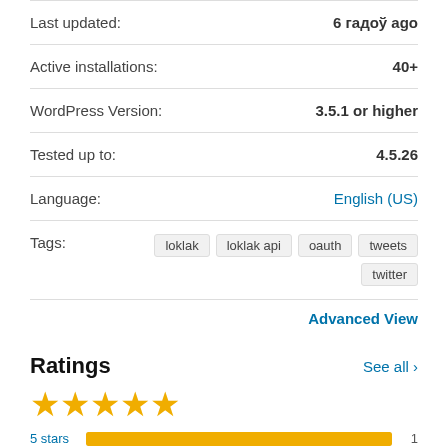Last updated: 6 гадоў ago
Active installations: 40+
WordPress Version: 3.5.1 or higher
Tested up to: 4.5.26
Language: English (US)
Tags: loklak  loklak api  oauth  tweets  twitter
Advanced View
Ratings
See all >
[Figure (other): 5 gold stars rating display]
[Figure (bar-chart): Star ratings breakdown]